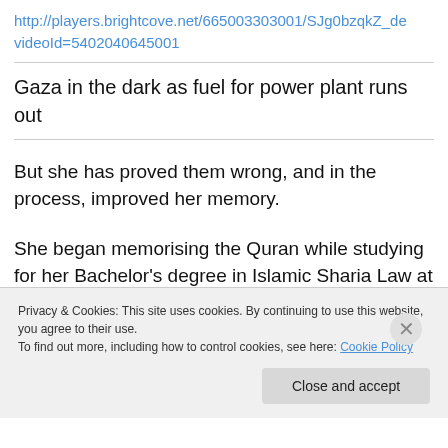http://players.brightcove.net/665003303001/SJg0bzqkZ_de videoId=5402040645001
Gaza in the dark as fuel for power plant runs out
But she has proved them wrong, and in the process, improved her memory.
She began memorising the Quran while studying for her Bachelor's degree in Islamic Sharia Law at Hebron University. It was easier to memorise then, she explained
Privacy & Cookies: This site uses cookies. By continuing to use this website, you agree to their use.
To find out more, including how to control cookies, see here: Cookie Policy
Close and accept